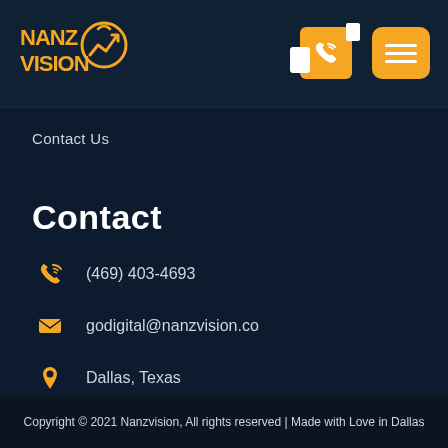[Figure (logo): NanzVision logo with orange text and chart arrow icon on dark blue header]
Contact Us
Contact
(469) 403-4693
godigital@nanzvision.co
Dallas, Texas
Copyright © 2021 Nanzvision, All rights reserved | Made with Love in Dallas